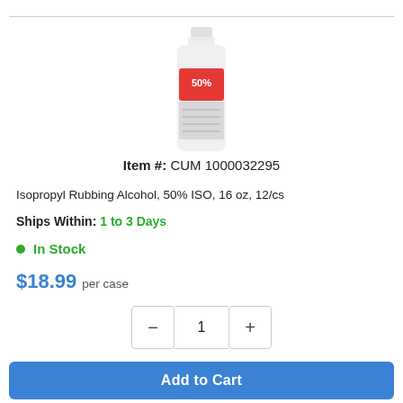[Figure (photo): A white plastic bottle of Isopropyl Rubbing Alcohol 50% ISO, 16 oz, with a red label]
Item #: CUM 1000032295
Isopropyl Rubbing Alcohol, 50% ISO, 16 oz, 12/cs
Ships Within: 1 to 3 Days
● In Stock
$18.99 per case
Add to Cart